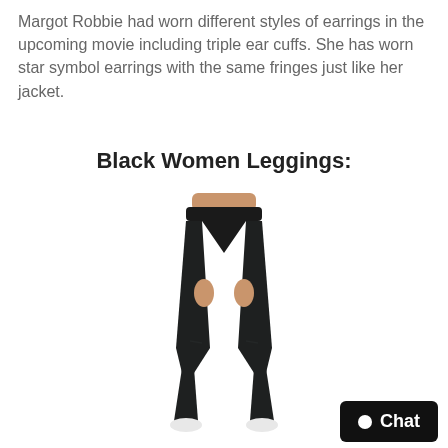Margot Robbie had worn different styles of earrings in the upcoming movie including triple ear cuffs. She has worn star symbol earrings with the same fringes just like her jacket.
Black Women Leggings:
[Figure (photo): Woman wearing black women's leggings, shown from waist down, white sneakers visible at bottom]